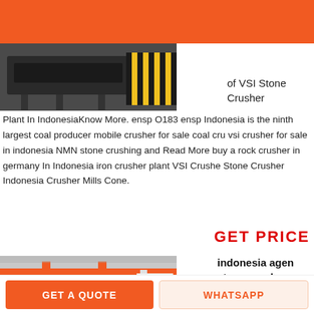[Figure (photo): Header area with orange background bar and hamburger menu icon, with a photo of industrial stone crusher equipment (black conveyor/platform with yellow-black striped safety markings)]
of VSI Stone Crusher Plant In IndonesiaKnow More. ensp O183 ensp Indonesia is the ninth largest coal producer mobile crusher for sale coal cru vsi crusher for sale in indonesia NMN stone crushing and Read More buy a rock crusher in germany In Indonesia iron crusher plant VSI Crushe Stone Crusher Indonesia Crusher Mills Cone.
GET PRICE
[Figure (photo): Industrial stone crusher machinery in a factory/workshop setting with orange overhead crane beams and heavy machinery.]
indonesia agen stone crusher china
stone
crusher
GET A QUOTE   WHATSAPP